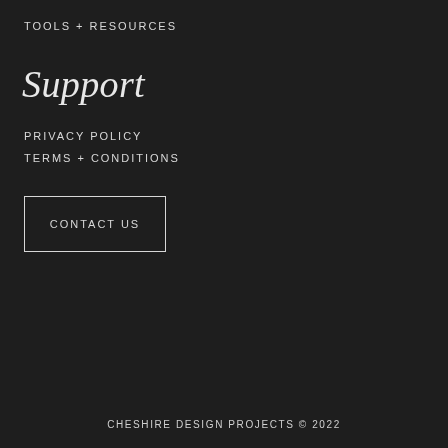TOOLS + RESOURCES
Support
PRIVACY POLICY
TERMS + CONDITIONS
CONTACT US
CHESHIRE DESIGN PROJECTS © 2022